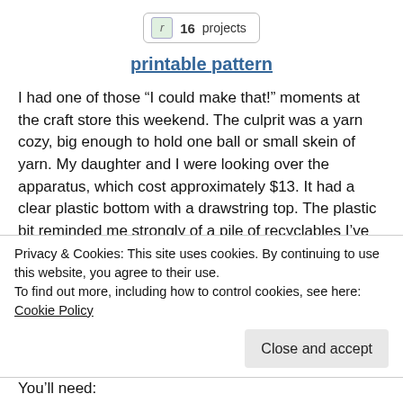[Figure (logo): Badge showing Ravelry icon with '16 projects' label]
printable pattern
I had one of those “I could make that!” moments at the craft store this weekend. The culprit was a yarn cozy, big enough to hold one ball or small skein of yarn. My daughter and I were looking over the apparatus, which cost approximately $13. It had a clear plastic bottom with a drawstring top. The plastic bit reminded me strongly of a pile of recyclables I’ve been saving for just such a purpose! If you’ve ever bought a value-sized package of writable cds or dvds, you know just
Privacy & Cookies: This site uses cookies. By continuing to use this website, you agree to their use.
To find out more, including how to control cookies, see here: Cookie Policy
Close and accept
You’ll need: